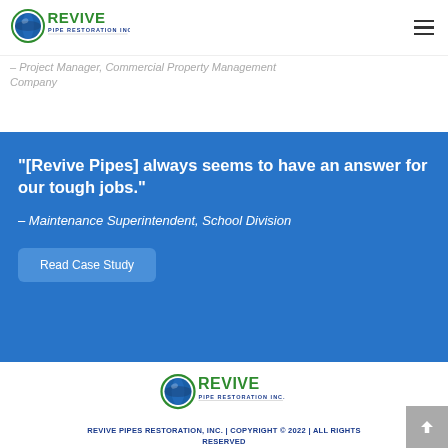[Figure (logo): Revive Pipe Restoration Inc. logo with globe icon and green text]
– Project Manager, Commercial Property Management Company
"[Revive Pipes] always seems to have an answer for our tough jobs."
– Maintenance Superintendent, School Division
Read Case Study
[Figure (logo): Revive Pipe Restoration Inc. footer logo]
REVIVE PIPES RESTORATION, INC. | COPYRIGHT © 2022 | ALL RIGHTS RESERVED